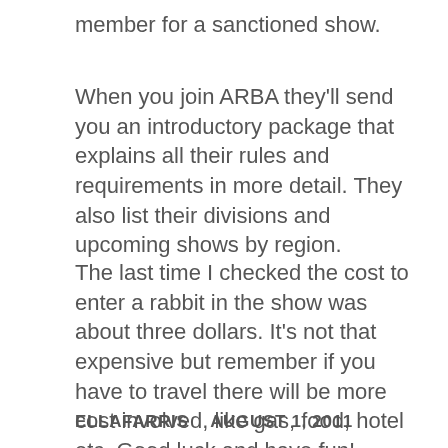member for a sanctioned show.
When you join ARBA they'll send you an introductory package that explains all their rules and requirements in more detail. They also list their divisions and upcoming shows by region.
The last time I checked the cost to enter a rabbit in the show was about three dollars. It's not that expensive but remember if you have to travel there will be more cost involved, like gas, food, hotel etc. Good luck and have fun!
ELLAFARRIS    AUGUST 1, 2011